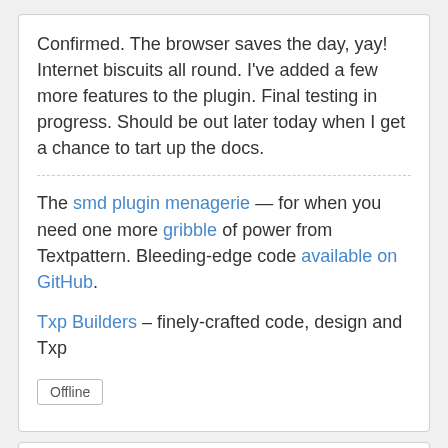Confirmed. The browser saves the day, yay! Internet biscuits all round. I've added a few more features to the plugin. Final testing in progress. Should be out later today when I get a chance to tart up the docs.
The smd plugin menagerie — for when you need one more gribble of power from Textpattern. Bleeding-edge code available on GitHub.
Txp Builders – finely-crafted code, design and Txp
Offline
#15 2011-04-02 22:30:38